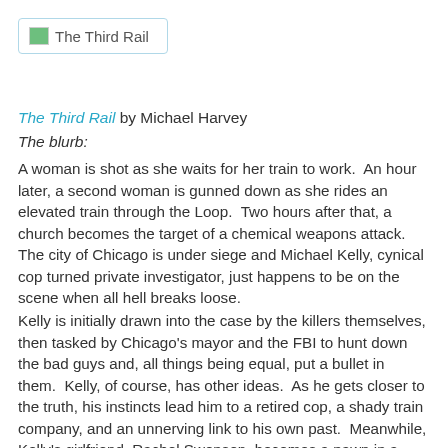[Figure (logo): Book cover thumbnail image placeholder with green icon and text 'The Third Rail' inside a light blue bordered box]
The Third Rail by Michael Harvey
The blurb:
A woman is shot as she waits for her train to work.  An hour later, a second woman is gunned down as she rides an elevated train through the Loop.  Two hours after that, a church becomes the target of a chemical weapons attack.  The city of Chicago is under siege and Michael Kelly, cynical cop turned private investigator, just happens to be on the scene when all hell breaks loose.
Kelly is initially drawn into the case by the killers themselves, then tasked by Chicago's mayor and the FBI to hunt down the bad guys and, all things being equal, put a bullet in them.  Kelly, of course, has other ideas.  As he gets closer to the truth, his instincts lead him to a retired cop, a shady train company, and an unnerving link to his own past.  Meanwhile, Kelly's girlfriend, Rachel Swenson, becomes a pawn in a much larger game, while a weapon that could kill millions ticks away quietly in the very belly of the city.